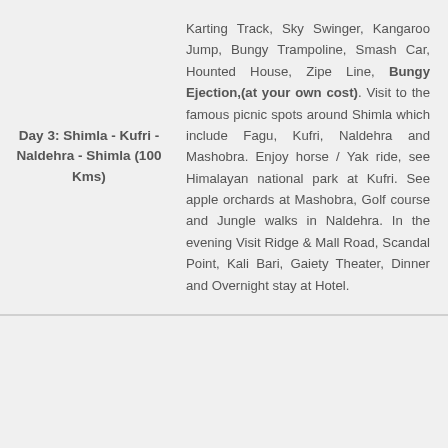Day 3: Shimla - Kufri - Naldehra - Shimla (100 Kms)
Karting Track, Sky Swinger, Kangaroo Jump, Bungy Trampoline, Smash Car, Hounted House, Zipe Line, Bungy Ejection,(at your own cost). Visit to the famous picnic spots around Shimla which include Fagu, Kufri, Naldehra and Mashobra. Enjoy horse / Yak ride, see Himalayan national park at Kufri. See apple orchards at Mashobra, Golf course and Jungle walks in Naldehra. In the evening Visit Ridge & Mall Road, Scandal Point, Kali Bari, Gaiety Theater, Dinner and Overnight stay at Hotel.